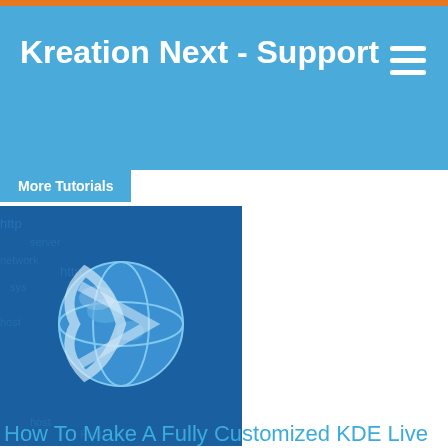Kreation Next - Support
More Tutorials
[Figure (logo): Kreation Next globe logo on blue background with http text]
How To Make A Fully Customized KDE Live CD/DVD Using Kubuntu
[Figure (logo): Kreation Next globe logo on blue background with http text]
[Figure (logo): Comodo Secure badge]
...ynalize()
Message